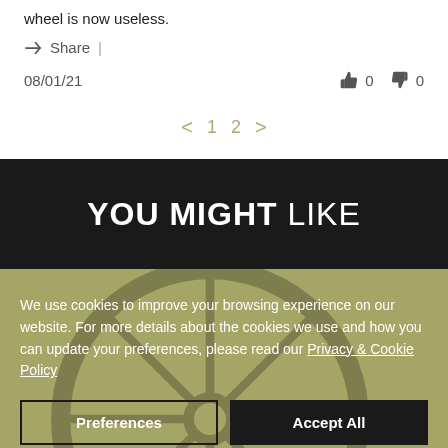wheel is now useless.
Share |
08/01/21   👍 0   👎 0
< 1 2 >
YOU MIGHT LIKE
We use cookies to improve your browsing experience on our website. For more details about the cookies we use and how you can update your preferences, please read our Privacy & Cookie Policy
Preferences
Accept All